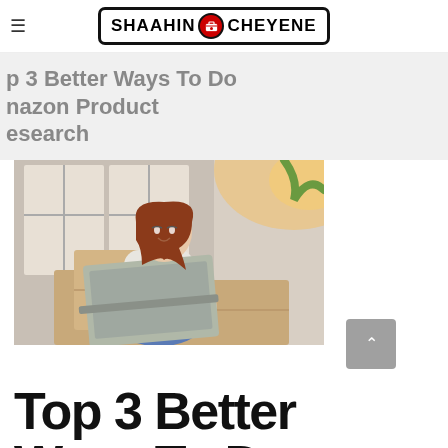SHAAHIN CHEYENE
Top 3 Better Ways To Do Amazon Product Research
[Figure (photo): Woman sitting on cardboard shipping boxes, smiling and working on a laptop]
Top 3 Better Ways To Do